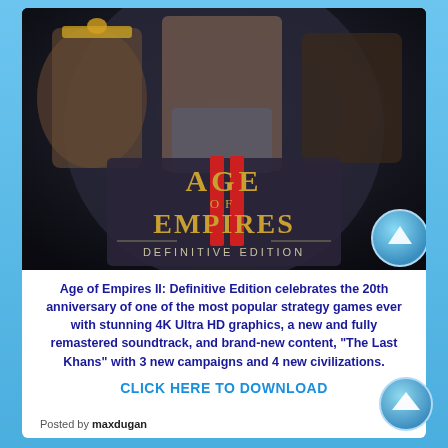[Figure (illustration): Age of Empires II: Definitive Edition game cover art showing three warrior faces and the game logo with gold and red lettering on a dark stone background]
Age of Empires II: Definitive Edition celebrates the 20th anniversary of one of the most popular strategy games ever with stunning 4K Ultra HD graphics, a new and fully remastered soundtrack, and brand-new content, “The Last Khans” with 3 new campaigns and 4 new civilizations.
CLICK HERE TO DOWNLOAD
Posted by maxdugan